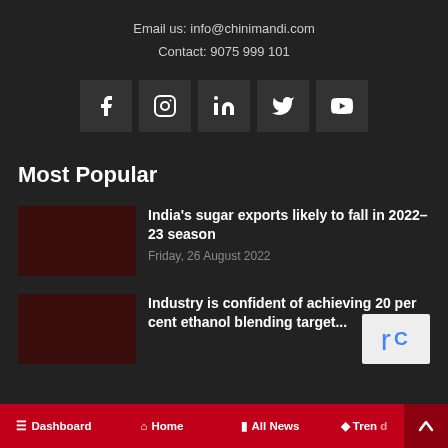Email us: info@chinimandi.com
Contact: 9075 999 101
[Figure (other): Social media icon buttons for Facebook, Instagram, LinkedIn, Twitter, YouTube]
Most Popular
India's sugar exports likely to fall in 2022–23 season
Friday, 26 August 2022
Industry is confident of achieving 20 per cent ethanol blending target...
Dashboard  Home  All News  Trend